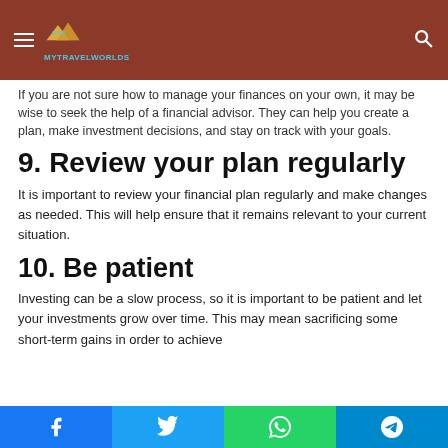MYTRAVELWORLDS
If you are not sure how to manage your finances on your own, it may be wise to seek the help of a financial advisor. They can help you create a plan, make investment decisions, and stay on track with your goals.
9. Review your plan regularly
It is important to review your financial plan regularly and make changes as needed. This will help ensure that it remains relevant to your current situation.
10. Be patient
Investing can be a slow process, so it is important to be patient and let your investments grow over time. This may mean sacrificing some short-term gains in order to achieve
Facebook | Twitter | WhatsApp | Telegram